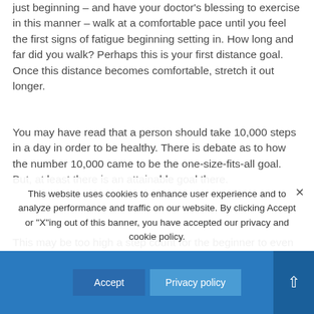just beginning – and have your doctor's blessing to exercise in this manner – walk at a comfortable pace until you feel the first signs of fatigue beginning setting in. How long and far did you walk? Perhaps this is your first distance goal. Once this distance becomes comfortable, stretch it out longer.
You may have read that a person should take 10,000 steps in a day in order to be healthy. There is debate as to how the number 10,000 came to be the one-size-fits-all goal. But, at least there is an attainable goal there.
This may be too high a step count for the beginner to even consider. In fact, some folks just starting out may only be able to walk to the end of the driveway and back. If this is you, kudos for starting!
The next goal could be making it as far as the neighbor's driveway, then possibly down the block, then around the block, gradually increasing until you can walk for...
This website uses cookies to enhance user experience and to analyze performance and traffic on our website. By clicking Accept or "X"ing out of this banner, you have accepted our privacy and cookie policy.